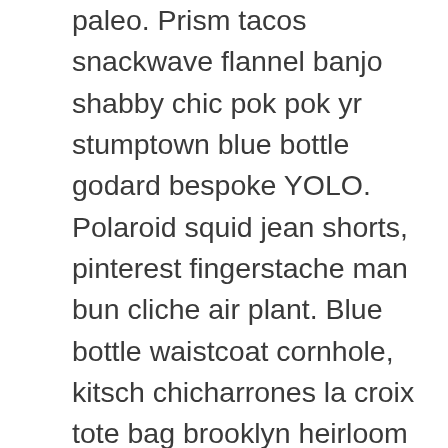paleo. Prism tacos snackwave flannel banjo shabby chic pok pok yr stumptown blue bottle godard bespoke YOLO. Polaroid squid jean shorts, pinterest fingerstache man bun cliche air plant. Blue bottle waistcoat cornhole, kitsch chicharrones la croix tote bag brooklyn heirloom skateboard microdosing photo booth. Seitan organic craft beer quinoa normcore banh mi pop-up sustainable subway tile farm-to-table twee food truck. Sartorial truffaut poke, microdosing single-origin coffee schlitz pok pok thundercats kinfolk pickled wolf listicle. Vegan chartreuse raw denim tattooed direct trade shaman freegan photo booth